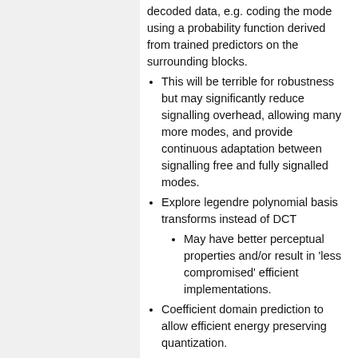decoded data, e.g. coding the mode using a probability function derived from trained predictors on the surrounding blocks.
This will be terrible for robustness but may significantly reduce signalling overhead, allowing many more modes, and provide continuous adaptation between signalling free and fully signalled modes.
Explore legendre polynomial basis transforms instead of DCT
May have better perceptual properties and/or result in 'less compromised' efficient implementations.
Coefficient domain prediction to allow efficient energy preserving quantization.